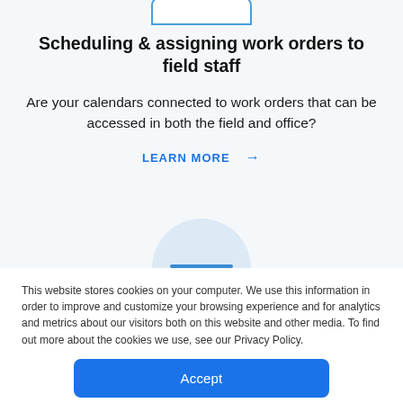[Figure (illustration): Partial phone/card UI element with blue border, cropped at top of page]
Scheduling & assigning work orders to field staff
Are your calendars connected to work orders that can be accessed in both the field and office?
LEARN MORE →
[Figure (illustration): Partial semi-circle illustration in light blue, peeking from bottom of content area with a blue horizontal bar]
This website stores cookies on your computer. We use this information in order to improve and customize your browsing experience and for analytics and metrics about our visitors both on this website and other media. To find out more about the cookies we use, see our Privacy Policy.
Accept